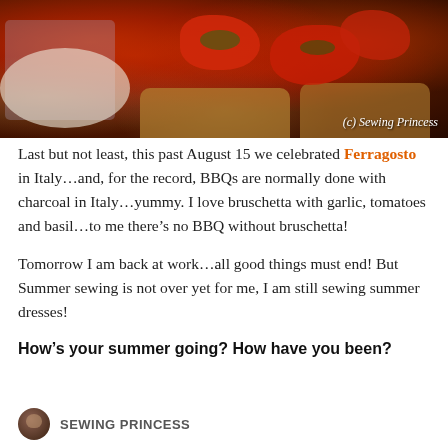[Figure (photo): Photo of bruschetta with tomatoes and basil on bread, with a plate visible at left. Watermark '(c) Sewing Princess' in bottom-right corner.]
Last but not least, this past August 15 we celebrated Ferragosto in Italy...and, for the record, BBQs are normally done with charcoal in Italy...yummy. I love bruschetta with garlic, tomatoes and basil...to me there's no BBQ without bruschetta!
Tomorrow I am back at work...all good things must end! But Summer sewing is not over yet for me, I am still sewing summer dresses!
How's your summer going? How have you been?
SEWING PRINCESS